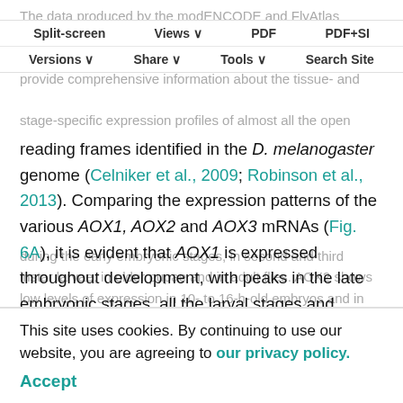The data produced by the modENCODE and FlyAtlas projects are accessible on FlyBase (http://flybase.org) and provide comprehensive information about the tissue- and stage-specific expression profiles of almost all the open reading frames identified in the D. melanogaster genome (Celniker et al., 2009; Robinson et al., 2013). Comparing the expression patterns of the various AOX1, AOX2 and AOX3 mRNAs (Fig. 6A), it is evident that AOX1 is expressed throughout development, with peaks in the late embryonic stages, all the larval stages and during adulthood. AOX3 mRNA is also measurable throughout development, with complementary peaks of expression relative to AOX1, i.e. during the early embryonic stages, in second and third instar larvae, in older pupae and in adult flies. AOX2 shows low levels of expression in 10- to 16-h-old embryos and in third instar larvae, while large amounts of the transcript are
This site uses cookies. By continuing to use our website, you are agreeing to our privacy policy. Accept